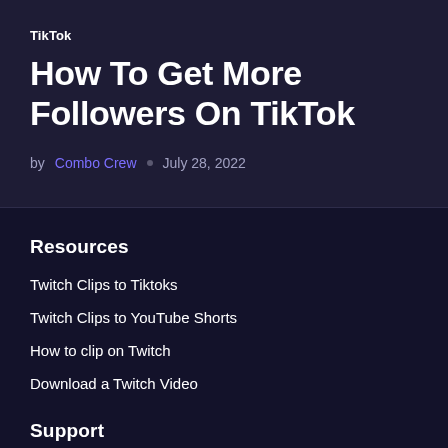TikTok
How To Get More Followers On TikTok
by Combo Crew  •  July 28, 2022
Resources
Twitch Clips to Tiktoks
Twitch Clips to YouTube Shorts
How to clip on Twitch
Download a Twitch Video
Support
Combo Discord Community